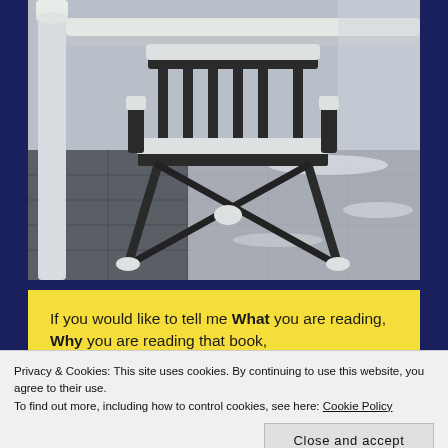[Figure (photo): A snow-covered outdoor metal chair and railing on a dark paved patio/deck. Snow has accumulated on the chair back, armrests, and the horizontal railing to the left. The ground is dusted with snow.]
If you would like to tell me What you are reading, Why you are reading that book,
Privacy & Cookies: This site uses cookies. By continuing to use this website, you agree to their use.
To find out more, including how to control cookies, see here: Cookie Policy
Close and accept